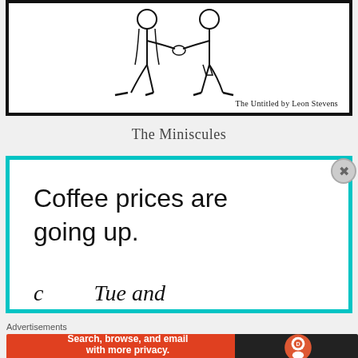[Figure (illustration): Comic strip panel showing two stick-figure characters shaking hands, drawn in simple line art style. Caption reads 'The Untitled by Leon Stevens']
The Miniscules
[Figure (illustration): Comic panel with teal/cyan border containing handwritten text 'Coffee prices are going up.' and partial text below starting with a letter and 'and' visible at bottom cutoff.]
Advertisements
[Figure (other): DuckDuckGo advertisement banner: 'Search, browse, and email with more privacy. All in One Free App' with DuckDuckGo logo on dark background.]